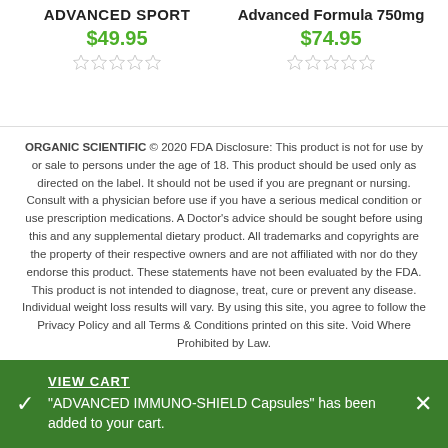ADVANCED SPORT
$49.95
Advanced Formula 750mg
$74.95
ORGANIC SCIENTIFIC © 2020 FDA Disclosure: This product is not for use by or sale to persons under the age of 18. This product should be used only as directed on the label. It should not be used if you are pregnant or nursing. Consult with a physician before use if you have a serious medical condition or use prescription medications. A Doctor's advice should be sought before using this and any supplemental dietary product. All trademarks and copyrights are the property of their respective owners and are not affiliated with nor do they endorse this product. These statements have not been evaluated by the FDA. This product is not intended to diagnose, treat, cure or prevent any disease. Individual weight loss results will vary. By using this site, you agree to follow the Privacy Policy and all Terms & Conditions printed on this site. Void Where Prohibited by Law.
VIEW CART
"ADVANCED IMMUNO-SHIELD Capsules" has been added to your cart.